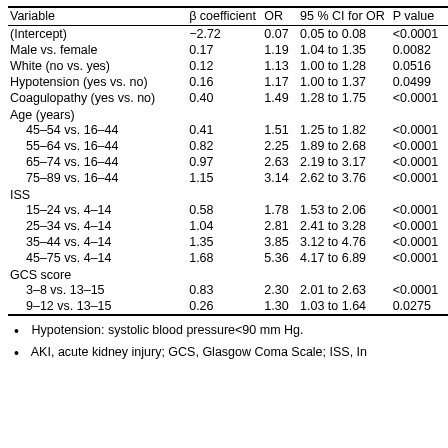| Variable | β coefficient | OR | 95 % CI for OR | P value |
| --- | --- | --- | --- | --- |
| (Intercept) | −2.72 | 0.07 | 0.05 to 0.08 | <0.0001 |
| Male vs. female | 0.17 | 1.19 | 1.04 to 1.35 | 0.0082 |
| White (no vs. yes) | 0.12 | 1.13 | 1.00 to 1.28 | 0.0516 |
| Hypotension (yes vs. no) | 0.16 | 1.17 | 1.00 to 1.37 | 0.0499 |
| Coagulopathy (yes vs. no) | 0.40 | 1.49 | 1.28 to 1.75 | <0.0001 |
| Age (years) |  |  |  |  |
|   45–54 vs. 16–44 | 0.41 | 1.51 | 1.25 to 1.82 | <0.0001 |
|   55–64 vs. 16–44 | 0.82 | 2.25 | 1.89 to 2.68 | <0.0001 |
|   65–74 vs. 16–44 | 0.97 | 2.63 | 2.19 to 3.17 | <0.0001 |
|   75–89 vs. 16–44 | 1.15 | 3.14 | 2.62 to 3.76 | <0.0001 |
| ISS |  |  |  |  |
|   15–24 vs. 4–14 | 0.58 | 1.78 | 1.53 to 2.06 | <0.0001 |
|   25–34 vs. 4–14 | 1.04 | 2.81 | 2.41 to 3.28 | <0.0001 |
|   35–44 vs. 4–14 | 1.35 | 3.85 | 3.12 to 4.76 | <0.0001 |
|   45–75 vs. 4–14 | 1.68 | 5.36 | 4.17 to 6.89 | <0.0001 |
| GCS score |  |  |  |  |
|   3–8 vs. 13–15 | 0.83 | 2.30 | 2.01 to 2.63 | <0.0001 |
|   9–12 vs. 13–15 | 0.26 | 1.30 | 1.03 to 1.64 | 0.0275 |
Hypotension: systolic blood pressure<90 mm Hg.
AKI, acute kidney injury; GCS, Glasgow Coma Scale; ISS, In